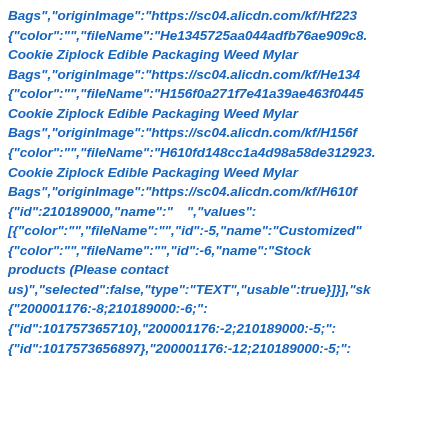Bags","originImage":"https://sc04.alicdn.com/kf/Hf223 {"color":"","fileName":"He1345725aa044adfb76ae909c8. Cookie Ziplock Edible Packaging Weed Mylar Bags","originImage":"https://sc04.alicdn.com/kf/He134 {"color":"","fileName":"H156f0a271f7e41a39ae463f0445 Cookie Ziplock Edible Packaging Weed Mylar Bags","originImage":"https://sc04.alicdn.com/kf/H156f {"color":"","fileName":"H610fd148cc1a4d98a58de312923. Cookie Ziplock Edible Packaging Weed Mylar Bags","originImage":"https://sc04.alicdn.com/kf/H610f {"id":210189000,"name":"　","values": [{"color":"","fileName":"","id":-5,"name":"Customized" {"color":"","fileName":"","id":-6,"name":"Stock products (Please contact us)","selected":false,"type":"TEXT","usable":true}]}], "sk {"200001176:-8;210189000:-6;": {"id":101757365710},"200001176:-2;210189000:-5;": {"id":1017573656897},"200001176:-12;210189000:-5;":